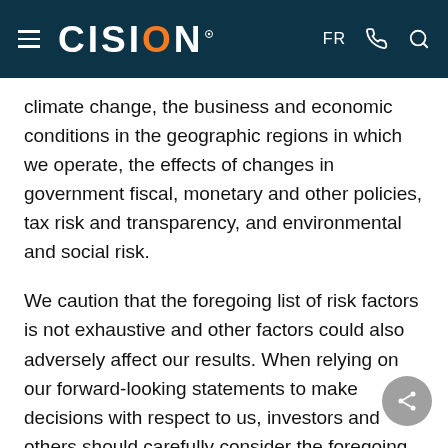CISION — FR
climate change, the business and economic conditions in the geographic regions in which we operate, the effects of changes in government fiscal, monetary and other policies, tax risk and transparency, and environmental and social risk.
We caution that the foregoing list of risk factors is not exhaustive and other factors could also adversely affect our results. When relying on our forward-looking statements to make decisions with respect to us, investors and others should carefully consider the foregoing factors and other uncertainties and potential events. Material economic assumptions